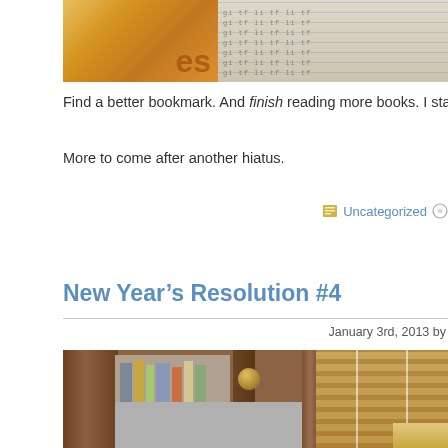[Figure (photo): Top cropped photo showing orange/tan colored items on left and lined paper or text on right, partially visible]
Find a better bookmark. And finish reading more books. I start plenty of them . .
More to come after another hiatus.
Uncategorized
New Year’s Resolution #4
January 3rd, 2013 by
[Figure (photo): Photo of a wooden bookshelf with books and a gray panel/drawer front, with wooden blinds visible in the background on the right side]